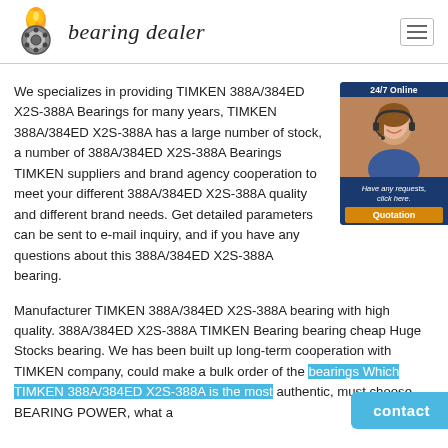bearing dealer
We specializes in providing TIMKEN 388A/384ED X2S-388A Bearings for many years, TIMKEN 388A/384ED X2S-388A has a large number of stock, a number of 388A/384ED X2S-388A Bearings TIMKEN suppliers and brand agency cooperation to meet your different 388A/384ED X2S-388A quality and different brand needs. Get detailed parameters can be sent to e-mail inquiry, and if you have any questions about this 388A/384ED X2S-388A bearing.
[Figure (photo): 24/7 Online chat widget with a customer service representative photo and Quotation button]
Manufacturer TIMKEN 388A/384ED X2S-388A bearing with high quality. 388A/384ED X2S-388A TIMKEN Bearing bearing cheap Huge Stocks bearing. We has been built up long-term cooperation with TIMKEN company, could make a bulk order of the bearings Which TIMKEN 388A/384ED X2S-388A is the most authentic, must choose BEARING POWER, what a
[Figure (other): Contact button widget in light blue]